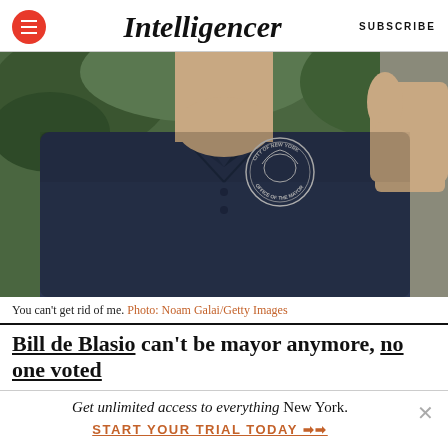Intelligencer | SUBSCRIBE
[Figure (photo): Close-up of a man's torso in a navy blue polo shirt with 'City of New York Office of the Mayor' logo patch, giving a thumbs-up gesture. Green foliage visible in blurred background.]
You can't get rid of me. Photo: Noam Galai/Getty Images
Bill de Blasio can't be mayor anymore, no one voted
Get unlimited access to everything New York. START YOUR TRIAL TODAY ▶▶